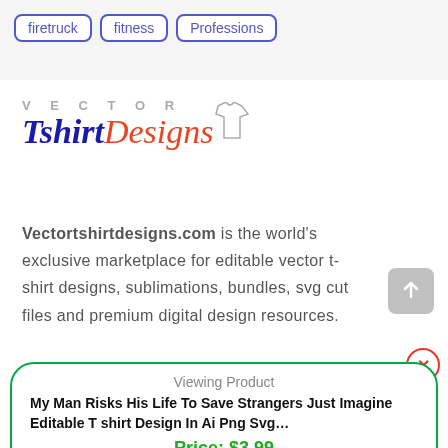firetruck
fitness
Professions
[Figure (logo): Vector Tshirt Designs logo with shirt icon]
Vectortshirtdesigns.com is the world's exclusive marketplace for editable vector t-shirt designs, sublimations, bundles, svg cut files and premium digital design resources.
Viewing Product
My Man Risks His Life To Save Strangers Just Imagine Editable T shirt Design In Ai Png Svg…
Price: $3.99
Add to cart